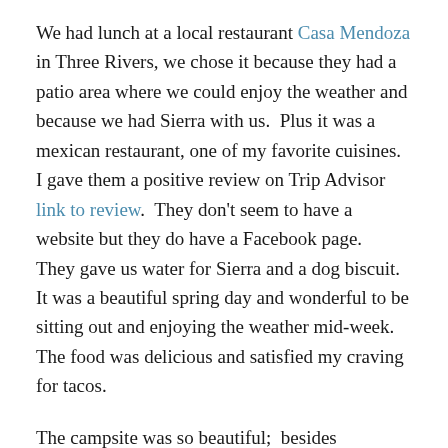We had lunch at a local restaurant Casa Mendoza in Three Rivers, we chose it because they had a patio area where we could enjoy the weather and because we had Sierra with us.  Plus it was a mexican restaurant, one of my favorite cuisines. I gave them a positive review on Trip Advisor  link to review.  They don't seem to have a website but they do have a Facebook page.   They gave us water for Sierra and a dog biscuit.  It was a beautiful spring day and wonderful to be sitting out and enjoying the weather mid-week.   The food was delicious and satisfied my craving for tacos.
The campsite was so beautiful;  besides exploring the area; taking care of housekeeping items we enjoyed just hanging out and observing the river.  We didn't know at that time that we would be getting into colder weather further along the trip.  But then this trip was about